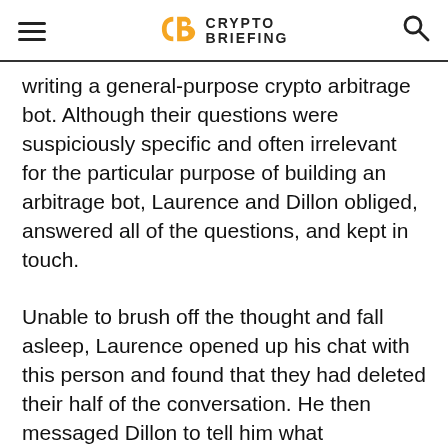Crypto Briefing
writing a general-purpose crypto arbitrage bot. Although their questions were suspiciously specific and often irrelevant for the particular purpose of building an arbitrage bot, Laurence and Dillon obliged, answered all of the questions, and kept in touch.
Unable to brush off the thought and fall asleep, Laurence opened up his chat with this person and found that they had deleted their half of the conversation. He then messaged Dillon to tell him what happened, and Dillon found the same—the conversations were gone. “Hmm, OK, this isn’t suspicious at all,”